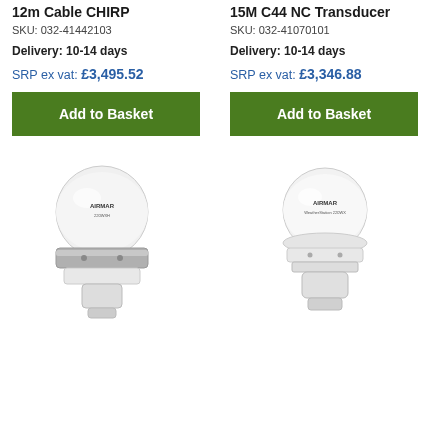12m Cable CHIRP
SKU: 032-41442103
Delivery: 10-14 days
SRP ex vat: £3,495.52
Add to Basket
[Figure (photo): AIRMAR weather station device, white dome on metallic ring base with connector]
15M C44 NC Transducer
SKU: 032-41070101
Delivery: 10-14 days
SRP ex vat: £3,346.88
Add to Basket
[Figure (photo): AIRMAR WeatherStation device, white dome on white base with connector]